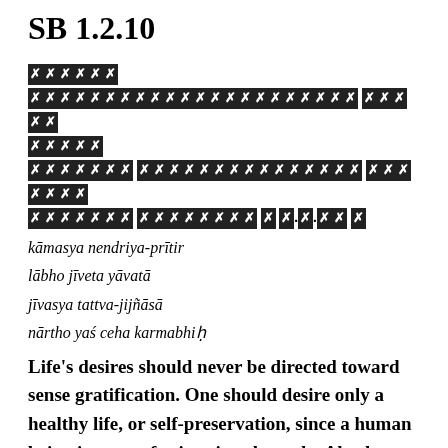SB 1.2.10
[Sanskrit text in Devanagari script - redacted boxes]
kāmasya nendriya-prītir
lābho jīveta yāvatā
jīvasya tattva-jijñāsā
nārtho yaś ceha karmabhiḥ
Life's desires should never be directed toward sense gratification. One should desire only a healthy life, or self-preservation, since a human being is meant for inquiry about the Absolute Truth. Nothing else should be the goal of one's works.